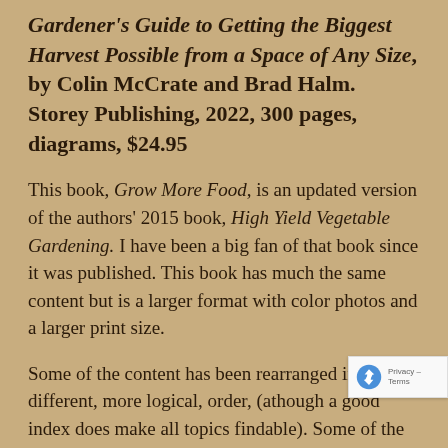Gardener's Guide to Getting the Biggest Harvest Possible from a Space of Any Size, by Colin McCrate and Brad Halm. Storey Publishing, 2022, 300 pages, diagrams, $24.95
This book, Grow More Food, is an updated version of the authors' 2015 book, High Yield Vegetable Gardening. I have been a big fan of that book since it was published. This book has much the same content but is a larger format with color photos and a larger print size.
Some of the content has been rearranged into a different, more logical, order, (athough a good index does make all topics findable). Some of the more technical or professional terms have been changed from the earlier